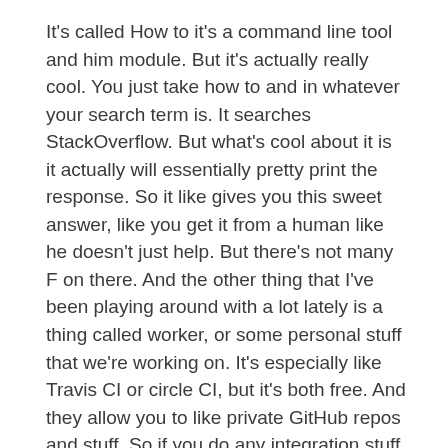It's called How to it's a command line tool and him module. But it's actually really cool. You just take how to and in whatever your search term is. It searches StackOverflow. But what's cool about it is it actually will essentially pretty print the response. So it like gives you this sweet answer, like you get it from a human like he doesn't just help. But there's not many F on there. And the other thing that I've been playing around with a lot lately is a thing called worker, or some personal stuff that we're working on. It's especially like Travis CI or circle CI, but it's both free. And they allow you to like private GitHub repos and stuff. So if you do any integration stuff, it's like, super simple, but it's just was really, really cool.
Ryan Burgess
So actually, my first pick isn't even really technology related, actually. So we're just getting more abstract. Yeah, exactly. I was. So I was in New York with Jom was